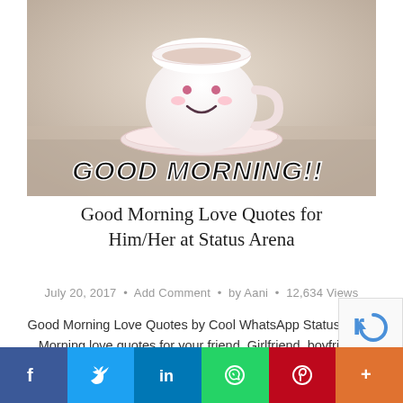[Figure (photo): A cute white teacup with a smiley face on a saucer, with 'GOOD MORNING!!' text in bold black handwritten style at the bottom of the image]
Good Morning Love Quotes for Him/Her at Status Arena
July 20, 2017 • Add Comment • by Aani • 12,634 Views
Good Morning Love Quotes by Cool WhatsApp Status Good Morning love quotes for your friend, Girlfriend, boyfriend, Husband and Wife or anyone you love the most. Good Morning is the beginning of the day. After the sweet sleep of...